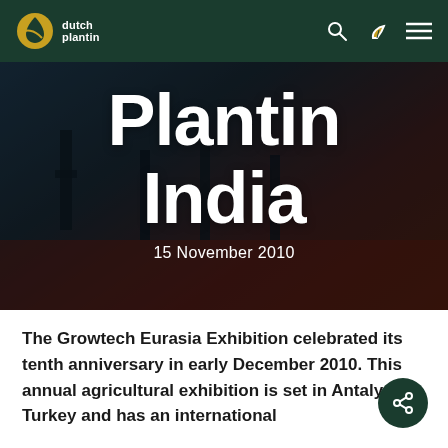dutch plantin
[Figure (photo): Dark background photo showing chairs and exhibition setting, used as hero image behind the article title 'Plantin India']
Plantin India
15 November 2010
The Growtech Eurasia Exhibition celebrated its tenth anniversary in early December 2010. This annual agricultural exhibition is set in Antalya, Turkey and has an international